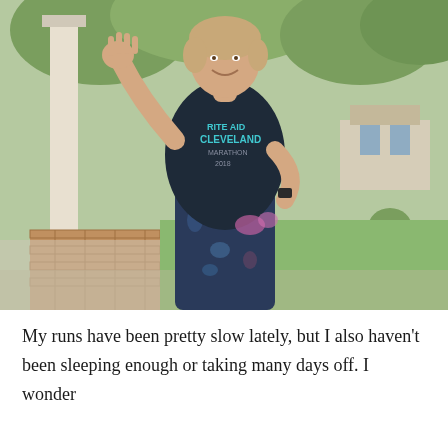[Figure (photo): A smiling woman standing on a porch, wearing a dark navy v-neck t-shirt that reads 'Rite Aid Cleveland Marathon 2018' and colorful patterned leggings. She is waving with one hand and has the other on her hip. The background shows a green yard, trees, a brick column, and potted plants.]
My runs have been pretty slow lately, but I also haven't been sleeping enough or taking many days off. I wonder